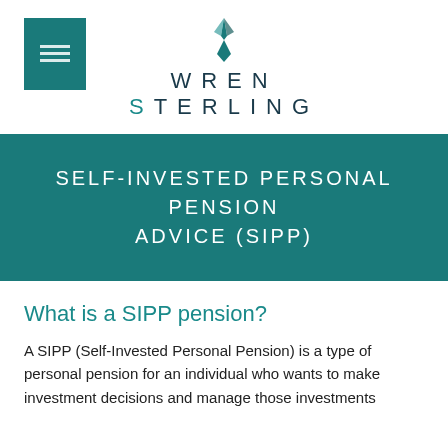[Figure (logo): Wren Sterling logo with teal icon box and pen nib SVG, with WREN STERLING wordmark in dark navy and teal accent on S]
SELF-INVESTED PERSONAL PENSION ADVICE (SIPP)
What is a SIPP pension?
A SIPP (Self-Invested Personal Pension) is a type of personal pension for an individual who wants to make investment decisions and manage those investments